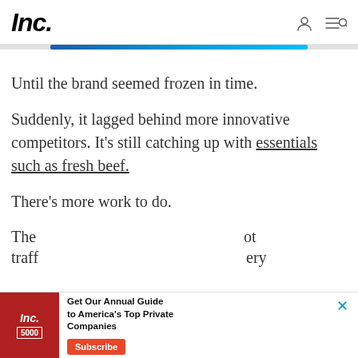Inc.
Until the brand seemed frozen in time.
Suddenly, it lagged behind more innovative competitors. It's still catching up with essentials such as fresh beef.
There's more work to do.
The [ad] ot traff ery
[Figure (other): Advertisement banner for Inc. magazine Annual Guide to America's Top Private Companies with Subscribe button]